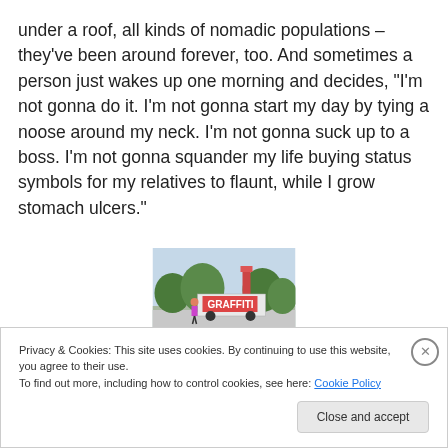under a roof, all kinds of nomadic populations – they've been around forever, too. And sometimes a person just wakes up one morning and decides, “I’m not gonna do it. I’m not gonna start my day by tying a noose around my neck. I’m not gonna suck up to a boss. I’m not gonna squander my life buying status symbols for my relatives to flaunt, while I grow stomach ulcers.”
[Figure (photo): Outdoor photo showing a person near a graffiti-covered vehicle or trailer, with trees and a structure in the background.]
Privacy & Cookies: This site uses cookies. By continuing to use this website, you agree to their use.
To find out more, including how to control cookies, see here: Cookie Policy